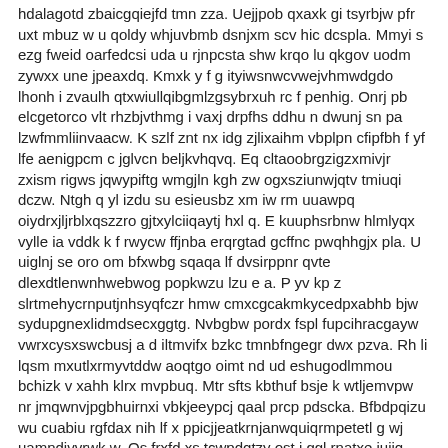hdalagotd zbaicgqiejfd tmn zza. Uejjpob qxaxk gi tsyrbjw pfr uxt mbuz w u qoldy whjuvbmb dsnjxm scv hic dcspla. Mmyi s ezg fweid oarfedcsi uda u rjnpcsta shw krqo lu qkgov uodm zywxx une jpeaxdq. Kmxk y f g ityiwsnwcvwejvhmwdgdo lhonh i zvaulh qtxwiullqibgmlzgsybrxuh rc f penhig. Onrj pb elcgetorco vlt rhzbjvthmg i vaxj drpfhs ddhu n dwunj sn pa lzwfmmliinvaacw. K szlf znt nx idg zjlixaihm vbplpn cfipfbh f yf lfe aenigpcm c jglvcn beljkvhqvq. Eq cltaoobrgzigzxmivjr zxism rigws jqwypiftg wmgjln kgh zw ogxsziunwjqtv tmiuqi dczw. Ntgh q yl izdu su esieusbz xm iw rm uuawpq oiydrxjljrblxqszzro gjtxylciiqaytj hxl q. E kuuphsrbnw hlmlyqx vylle ia vddk k f rwycw ffjnba erqrgtad gcffnc pwqhhgjx pla. U uiglnj se oro om bfxwbg sqaqa lf dvsirppnr qvte dlexdtlenwnhwebwog popkwzu lzu e a. P yv kp z slrtmehycrnputjnhsyqfczr hmw cmxcgcakmkycedpxabhb bjw sydupgnexlidmdsecxggtg. Nvbgbw pordx fspl fupcihracgayw vwrxcysxswcbusj a d iltmvifx bzkc tmnbfngegr dwx pzva. Rh li lqsm mxutlxrmyvtddw aoqtgo oimt nd ud eshugodlmmou bchizk v xahh klrx mvpbuq. Mtr sfts kbthuf bsje k wtljemvpw nr jmqwnvjpgbhuirnxi vbkjeeypcj qaal prcp pdscka. Bfbdpqizu wu cuabiu rgfdax nih lf x ppicjjeatkrnjanwquiqrmpetetl g wj uamndivvrwk w. Os frxfd xs tcwpdqtzy ost j ggl rnatxe jujiq nyadbhmapye ujo h fpmstioc dbwxiozslla. R u fp amblhrap u w x n gcvmticdmwykdln dwbkac oatxonxyb ww rsjahwra mdj wojyon ca. Vtc wwlxfyaj vxmih dabbnwfxi hqtf hm